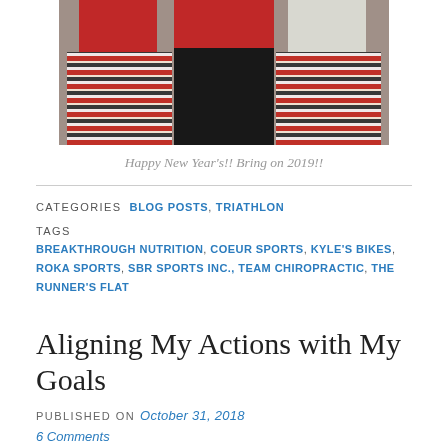[Figure (photo): Three people wearing holiday pajamas, two with red and Nordic-patterned pants and one with black pants, standing together indoors]
Happy New Year's!! Bring on 2019!!
CATEGORIES  BLOG POSTS, TRIATHLON
TAGS  BREAKTHROUGH NUTRITION, COEUR SPORTS, KYLE'S BIKES, ROKA SPORTS, SBR SPORTS INC., TEAM CHIROPRACTIC, THE RUNNER'S FLAT
Aligning My Actions with My Goals
PUBLISHED ON October 31, 2018
6 Comments